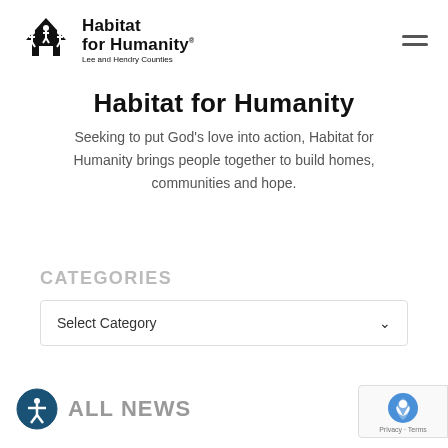[Figure (logo): Habitat for Humanity logo with house icon and three figures, text reads 'Habitat for Humanity Lee and Hendry Counties']
Habitat for Humanity
Seeking to put God's love into action, Habitat for Humanity brings people together to build homes, communities and hope.
CATEGORIES
Select Category
ALL NEWS
[Figure (other): reCAPTCHA badge with Privacy and Terms links]